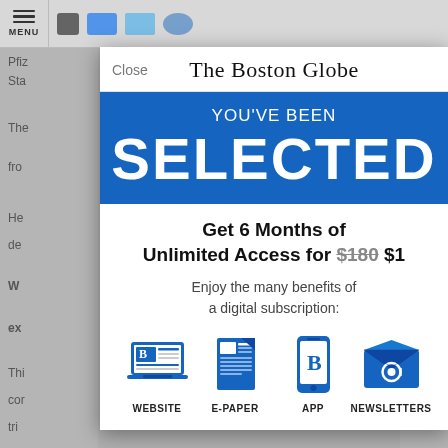[Figure (screenshot): Screenshot of The Boston Globe website with a subscription modal overlay on top of a news article page. The modal shows a 'YOU'VE BEEN SELECTED' promotion for 6 months of unlimited access for $1 (originally $180), with icons for Website, E-Paper, App, and Newsletters.]
The Boston Globe
YOU'VE BEEN
SELECTED
Get 6 Months of Unlimited Access for $180 $1
Enjoy the many benefits of a digital subscription:
WEBSITE
E-PAPER
APP
NEWSLETTERS